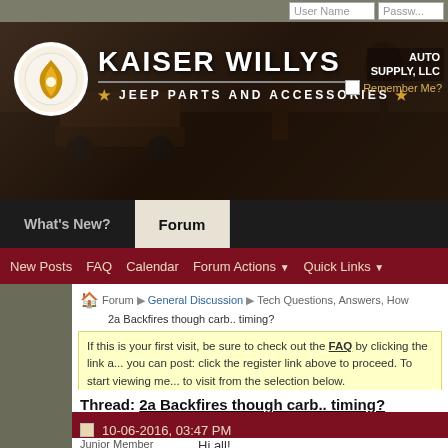Kaiser Willys Auto Supply, LLC — Jeep Parts and Accessories
User Name | Password | Remember Me?
What's New? | Forum
New Posts  FAQ  Calendar  Forum Actions ▼  Quick Links ▼
Forum ▶ General Discussion ▶ Tech Questions, Answers, How ...
2a Backfires though carb.. timing?
If this is your first visit, be sure to check out the FAQ by clicking the link a... you can post: click the register link above to proceed. To start viewing me... to visit from the selection below.
Thread: 2a Backfires though carb.. timing?
Thre...
10-06-2016, 03:47 PM
kjjk56  Junior Member
2a Backfires though carb...
Hi all!